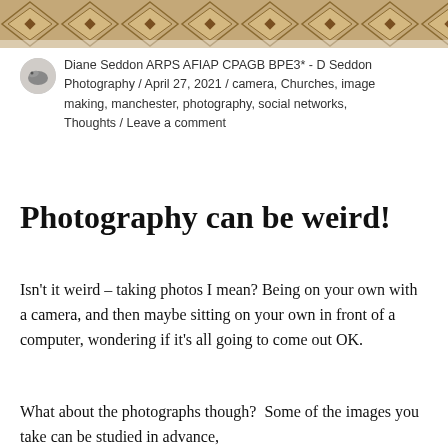[Figure (photo): Partial top image showing a decorative patterned surface, appears to be a carpet or mosaic with geometric diamond/star patterns in browns and creams, cropped at the top of the page.]
Diane Seddon ARPS AFIAP CPAGB BPE3* - D Seddon Photography / April 27, 2021 / camera, Churches, image making, manchester, photography, social networks, Thoughts / Leave a comment
Photography can be weird!
Isn't it weird – taking photos I mean? Being on your own with a camera, and then maybe sitting on your own in front of a computer, wondering if it's all going to come out OK.
What about the photographs though?  Some of the images you take can be studied in advance,